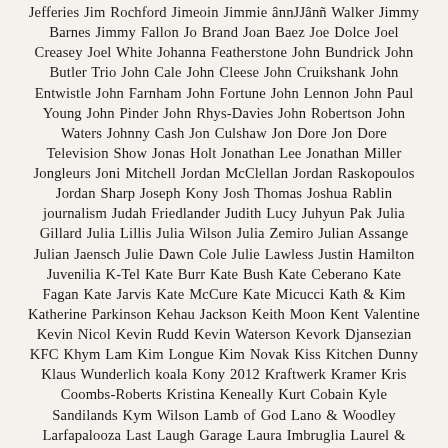Jefferies Jim Rochford Jimeoin Jimmie ânnJJânñ Walker Jimmy Barnes Jimmy Fallon Jo Brand Joan Baez Joe Dolce Joel Creasey Joel White Johanna Featherstone John Bundrick John Butler Trio John Cale John Cleese John Cruikshank John Entwistle John Farnham John Fortune John Lennon John Paul Young John Pinder John Rhys-Davies John Robertson John Waters Johnny Cash Jon Culshaw Jon Dore Jon Dore Television Show Jonas Holt Jonathan Lee Jonathan Miller Jongleurs Joni Mitchell Jordan McClellan Jordan Raskopoulos Jordan Sharp Joseph Kony Josh Thomas Joshua Rablin journalism Judah Friedlander Judith Lucy Juhyun Pak Julia Gillard Julia Lillis Julia Wilson Julia Zemiro Julian Assange Julian Jaensch Julie Dawn Cole Julie Lawless Justin Hamilton Juvenilia K-Tel Kate Burr Kate Bush Kate Ceberano Kate Fagan Kate Jarvis Kate McCure Kate Micucci Kath & Kim Katherine Parkinson Kehau Jackson Keith Moon Kent Valentine Kevin Nicol Kevin Rudd Kevin Waterson Kevork Djansezian KFC Khym Lam Kim Longue Kim Novak Kiss Kitchen Dunny Klaus Wunderlich koala Kony 2012 Kraftwerk Kramer Kris Coombs-Roberts Kristina Keneally Kurt Cobain Kyle Sandilands Kym Wilson Lamb of God Lano & Woodley Larfapalooza Last Laugh Garage Laura Imbruglia Laurel &